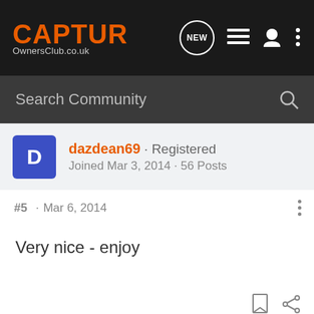CAPTUR OwnersClub.co.uk
Search Community
dazdean69 · Registered
Joined Mar 3, 2014 · 56 Posts
#5 · Mar 6, 2014
Very nice - enjoy
TC Eddy · Registered
Joined Sep 17, 2013 · 824 Posts